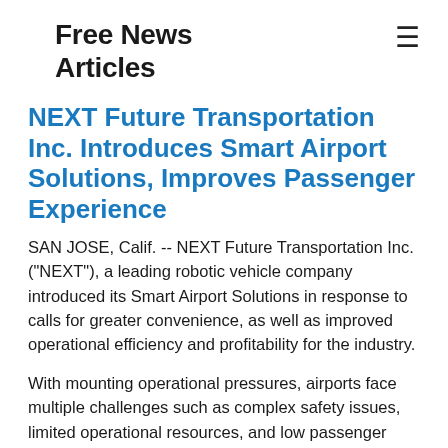Free News Articles
NEXT Future Transportation Inc. Introduces Smart Airport Solutions, Improves Passenger Experience
SAN JOSE, Calif. -- NEXT Future Transportation Inc. ("NEXT"), a leading robotic vehicle company introduced its Smart Airport Solutions in response to calls for greater convenience, as well as improved operational efficiency and profitability for the industry.
With mounting operational pressures, airports face multiple challenges such as complex safety issues, limited operational resources, and low passenger satisfaction. Consequently, the contradiction between the